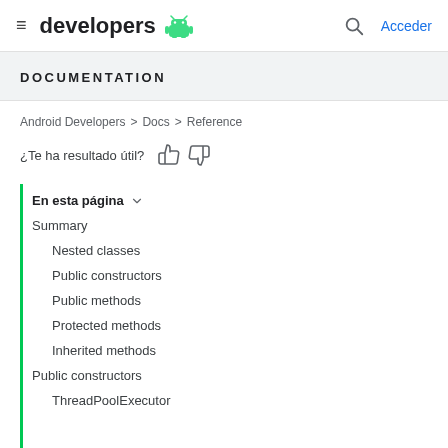developers | Acceder
DOCUMENTATION
Android Developers > Docs > Reference
¿Te ha resultado útil?
En esta página
Summary
Nested classes
Public constructors
Public methods
Protected methods
Inherited methods
Public constructors
ThreadPoolExecutor